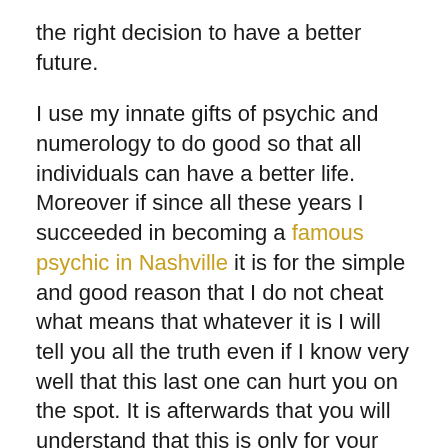the right decision to have a better future.
I use my innate gifts of psychic and numerology to do good so that all individuals can have a better life. Moreover if since all these years I succeeded in becoming a famous psychic in Nashville it is for the simple and good reason that I do not cheat what means that whatever it is I will tell you all the truth even if I know very well that this last one can hurt you on the spot. It is afterwards that you will understand that this is only for your own good.
I know that it is essential for some people to be more or less guided because they are not able to see the truth for various reasons. I have already had to deal with many individuals who had questions about their love life or other things but who deep down did not really want to know the truth. These individuals preferred to hide their face believing that it would be much better the next day but in fact it is not a good life, the same continues and you can hurt...